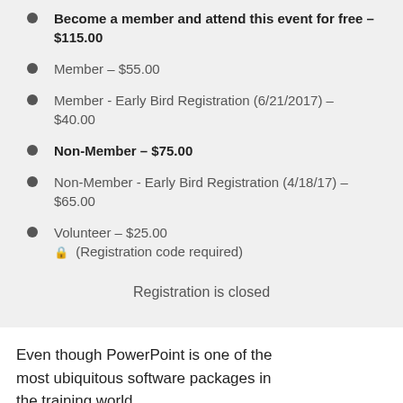Become a member and attend this event for free – $115.00
Member – $55.00
Member - Early Bird Registration (6/21/2017) – $40.00
Non-Member – $75.00
Non-Member - Early Bird Registration (4/18/17) – $65.00
Volunteer – $25.00 🔒 (Registration code required)
Registration is closed
Even though PowerPoint is one of the most ubiquitous software packages in the training world,